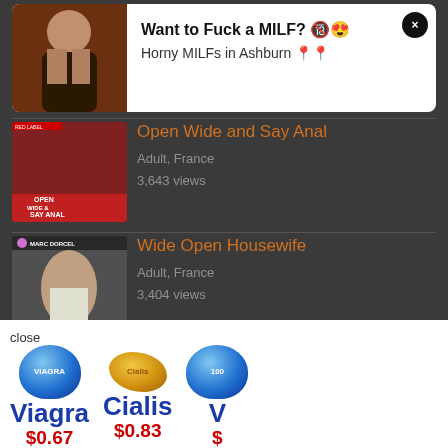[Figure (photo): Ad banner with woman photo, text: Want to Fuck a MILF? Horny MILFs in Ashburn]
[Figure (photo): Thumbnail for 'Open Wide and Say Anal', adult content listing]
Open Wide and Say Anal
Adult, France
3,643 views
[Figure (photo): Thumbnail for 'Wide Open Housewife', adult content listing]
Wide Open Housewife
Adult, France
3,404 views
[Figure (photo): Thumbnail for 'Community Swingers' (partially visible)]
Community Swingers
[Figure (infographic): Pharmacy ad banner: Viagra $0.67, Cialis $0.83, and a third item partially visible]